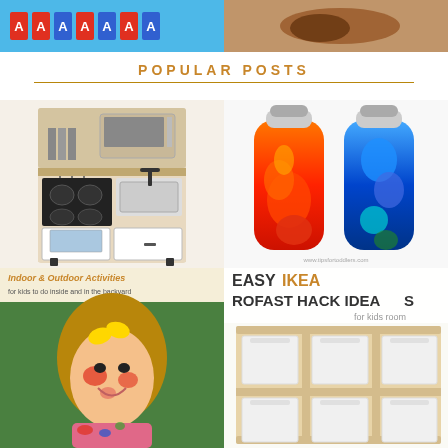[Figure (photo): Top banner strip showing colorful letters/dominos on left and a hand/food item on right]
POPULAR POSTS
[Figure (photo): IKEA children's play kitchen, wood and white, with sink, stove and microwave]
[Figure (photo): Two sensory bottles filled with red and blue liquid and colorful beads]
[Figure (photo): Indoor & Outdoor Activities for kids to do inside and in the backyard - smiling girl with paint on face]
[Figure (photo): EASY IKEA TROFAST HACK IDEAS for kids room - wooden IKEA Trofast storage unit with white bins]